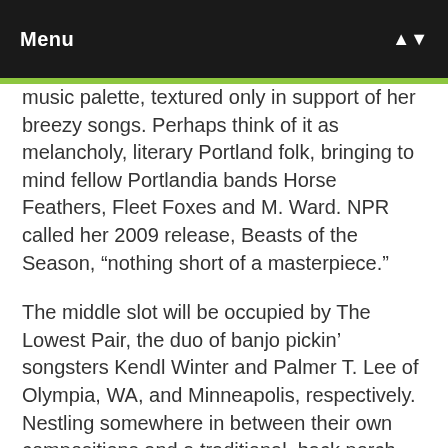Menu
music palette, textured only in support of her breezy songs. Perhaps think of it as melancholy, literary Portland folk, bringing to mind fellow Portlandia bands Horse Feathers, Fleet Foxes and M. Ward. NPR called her 2009 release, Beasts of the Season, “nothing short of a masterpiece.”
The middle slot will be occupied by The Lowest Pair, the duo of banjo pickin’ songsters Kendl Winter and Palmer T. Lee of Olympia, WA, and Minneapolis, respectively. Nestling somewhere in between their own compositions and a traditional, back porch vibe, it’s rare when two banjos are allowed on stage.
Opening the early evening show is Austin duo Brennan Leigh and Noel McKay. Mashing country duets a la George Jones and Melba Montgomery with sophisticated songwriting, this